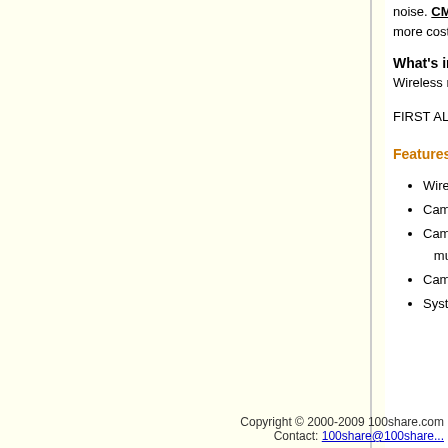noise. CMOS (complimentary metal-oxide se... more cost-effective and energy efficient.
What's in the Box
Wireless receiver, wireless camera, 2 power ad...
FIRST ALERT TBW-103, TEDDY BEAR WITH W...
Features:
Wireless receiver with a color came...
Camera transmits on 2.4 GHz wirele...
Camera and receiver can operate o... multiple cameras
Camera features 0.33-inch color CM...
System allows listen-in audio and ou...
Copyright © 2000-2009 100share.com Contact: 100share@100share...